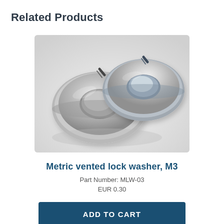Related Products
[Figure (photo): Two silver metallic metric vented lock washers (spring washers) photographed on a light background, showing the split ring design from a slightly elevated angle.]
Metric vented lock washer, M3
Part Number: MLW-03
EUR 0.30
ADD TO CART